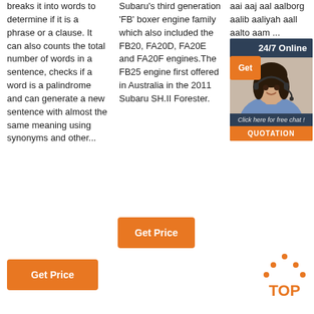breaks it into words to determine if it is a phrase or a clause. It can also counts the total number of words in a sentence, checks if a word is a palindrome and can generate a new sentence with almost the same meaning using synonyms and other...
Subaru's third generation 'FB' boxer engine family which also included the FB20, FA20D, FA20E and FA20F engines.The FB25 engine first offered in Australia in the 2011 Subaru SH.II Forester.
aai aaj aal aalborg aalib aaliyah aall aalto aam ...
[Figure (other): Advertisement box with 24/7 Online text, photo of a woman with headset, Click here for free chat!, and QUOTATION button]
[Figure (other): Orange Get button overlapping the advertisement box]
Get Price
Get Price
[Figure (other): TOP icon with orange dots forming a hat above the text TOP]